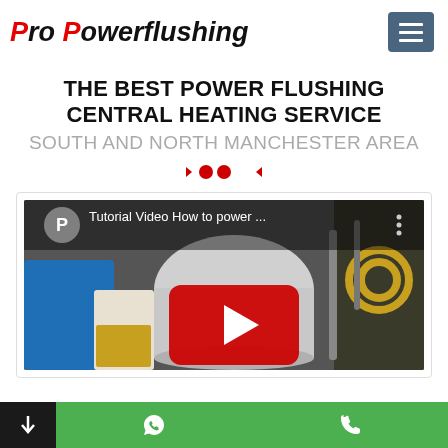[Figure (logo): Pro Powerflushing logo in bold red and black italic text]
THE BEST POWER FLUSHING CENTRAL HEATING SERVICE
SOUTH AND NORTH MANCHESTER AREA
[Figure (screenshot): YouTube video thumbnail showing power flushing equipment - Tutorial Video How to power ...]
Navigation bar with WhatsApp and phone icons on green background